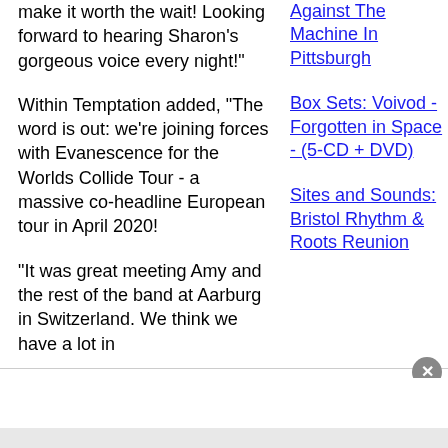make it worth the wait! Looking forward to hearing Sharon's gorgeous voice every night!"
Within Temptation added, "The word is out: we're joining forces with Evanescence for the Worlds Collide Tour - a massive co-headline European tour in April 2020!
"It was great meeting Amy and the rest of the band at Aarburg in Switzerland. We think we have a lot in
Against The Machine In Pittsburgh
Box Sets: Voivod - Forgotten in Space - (5-CD + DVD)
Sites and Sounds: Bristol Rhythm & Roots Reunion